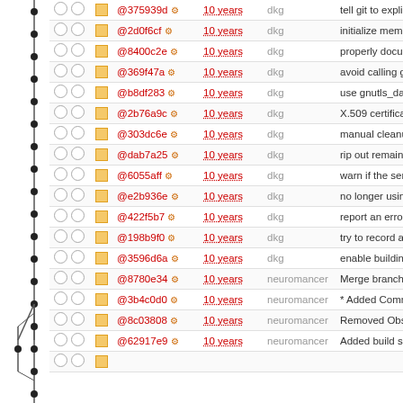| graph |  |  | hash | age | author | message |
| --- | --- | --- | --- | --- | --- | --- |
| • | ○ ○ | □ | @375939d ⚙ | 10 years | dkg | tell git to explicitly |
| • | ○ ○ | □ | @2d0f6cf ⚙ | 10 years | dkg | initialize member |
| • | ○ ○ | □ | @8400c2e ⚙ | 10 years | dkg | properly documer |
| • | ○ ○ | □ | @369f47a ⚙ | 10 years | dkg | avoid calling gnu |
| • | ○ ○ | □ | @b8df283 ⚙ | 10 years | dkg | use gnutls_datum |
| • | ○ ○ | □ | @2b76a9c ⚙ | 10 years | dkg | X.509 certificates |
| • | ○ ○ | □ | @303dc6e ⚙ | 10 years | dkg | manual cleanup a |
| • | ○ ○ | □ | @dab7a25 ⚙ | 10 years | dkg | rip out remaining |
| • | ○ ○ | □ | @6055aff ⚙ | 10 years | dkg | warn if the server |
| • | ○ ○ | □ | @e2b936e ⚙ | 10 years | dkg | no longer using fi |
| • | ○ ○ | □ | @422f5b7 ⚙ | 10 years | dkg | report an error if |
| • | ○ ○ | □ | @198b9f0 ⚙ | 10 years | dkg | try to record a su |
| • | ○ ○ | □ | @3596d6a ⚙ | 10 years | dkg | enable building a |
| • | ○ ○ | □ | @8780e34 ⚙ | 10 years | neuromancer | Merge branch 'm |
| • | ○ ○ | □ | @3b4c0d0 ⚙ | 10 years | neuromancer | * Added Commer |
| • | ○ ○ | □ | @8c03808 ⚙ | 10 years | neuromancer | Removed Obsele |
| • | ○ ○ | □ | @62917e9 ⚙ | 10 years | neuromancer | Added build scrip |
| • | ○ ○ | □ | ... | 10 years | ... | ... |